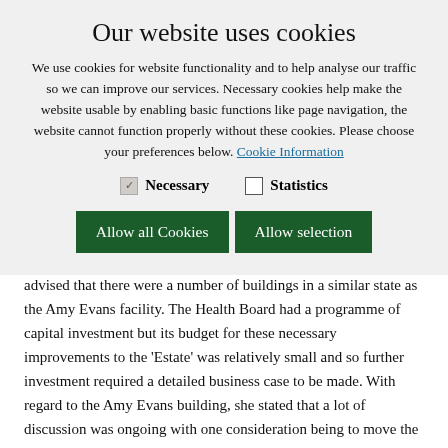Our website uses cookies
We use cookies for website functionality and to help analyse our traffic so we can improve our services. Necessary cookies help make the website usable by enabling basic functions like page navigation, the website cannot function properly without these cookies. Please choose your preferences below. Cookie Information
Necessary   Statistics
Allow all Cookies   Allow selection
advised that there were a number of buildings in a similar state as the Amy Evans facility. The Health Board had a programme of capital investment but its budget for these necessary improvements to the 'Estate' was relatively small and so further investment required a detailed business case to be made.  With regard to the Amy Evans building, she stated that a lot of discussion was ongoing with one consideration being to move the service to Barry Hospital.  She added that improvements were happening and grant money was being made available to improve the fabric of the building.